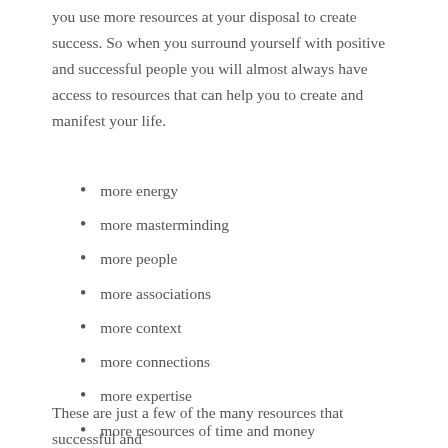you use more resources at your disposal to create success. So when you surround yourself with positive and successful people you will almost always have access to resources that can help you to create and manifest your life.
more energy
more masterminding
more people
more associations
more context
more connections
more expertise
more resources of time and money
These are just a few of the many resources that successful and